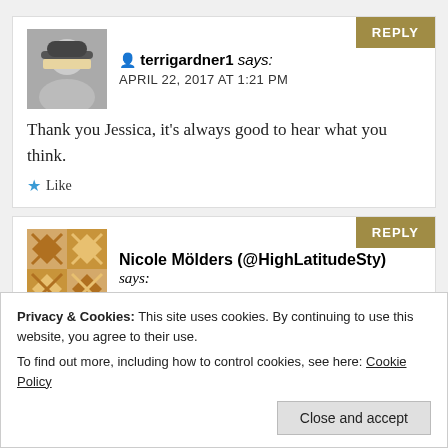terrigardner1 says: APRIL 22, 2017 AT 1:21 PM — Thank you Jessica, it's always good to hear what you think. Like
Nicole Mölders (@HighLatitudeSty) says: perfectly!
Privacy & Cookies: This site uses cookies. By continuing to use this website, you agree to their use. To find out more, including how to control cookies, see here: Cookie Policy. Close and accept